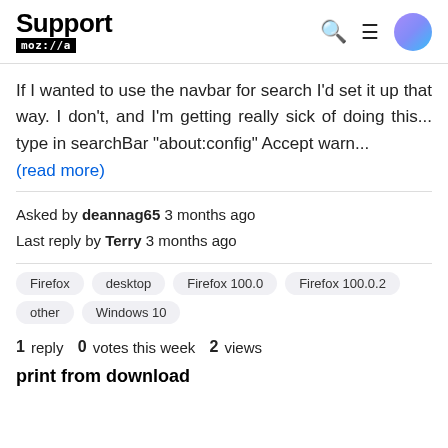Support moz://a
If I wanted to use the navbar for search I'd set it up that way. I don't, and I'm getting really sick of doing this... type in searchBar "about:config" Accept warn... (read more)
Asked by deannag65 3 months ago
Last reply by Terry 3 months ago
Firefox  desktop  Firefox 100.0  Firefox 100.0.2  other  Windows 10
1 reply  0 votes this week  2 views
print from download